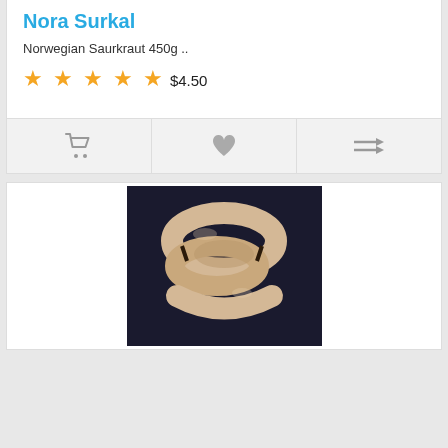Nora Surkal
Norwegian Saurkraut 450g ..
★★★★★
$4.50
[Figure (photo): Photo of coiled sausages/wurst on a dark background]